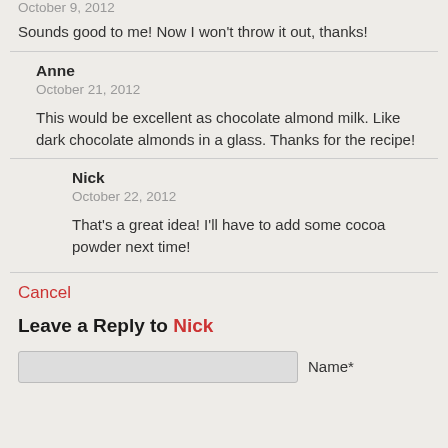October 9, 2012
Sounds good to me! Now I won't throw it out, thanks!
Anne
October 21, 2012
This would be excellent as chocolate almond milk. Like dark chocolate almonds in a glass. Thanks for the recipe!
Nick
October 22, 2012
That's a great idea! I'll have to add some cocoa powder next time!
Cancel
Leave a Reply to Nick
Name*